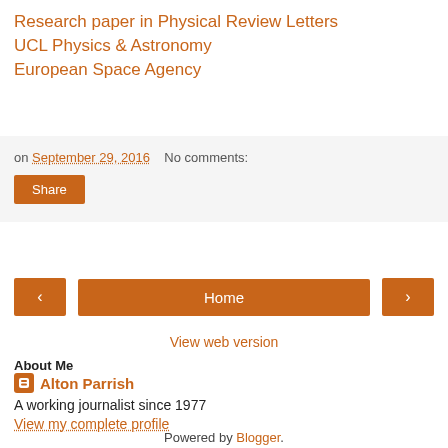Research paper in Physical Review Letters
UCL Physics & Astronomy
European Space Agency
on September 29, 2016    No comments:
Share
< Home >
View web version
About Me
Alton Parrish
A working journalist since 1977
View my complete profile
Powered by Blogger.